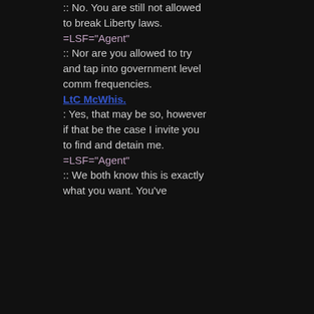:: No. You are still not allowed to break Liberty laws.
=LSF="Agent" :: Nor are you allowed to try and tap into government level comm frequencies.
LtC McWhis.: Yes, that may be so, however if that be the case I invite you to find and detain me.
=LSF="Agent" :: We both know this is exactly what you want. You've